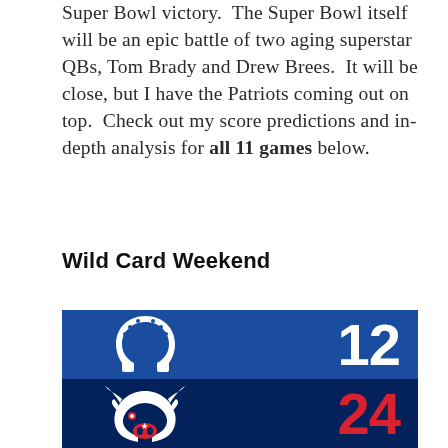Super Bowl victory. The Super Bowl itself will be an epic battle of two aging superstar QBs, Tom Brady and Drew Brees. It will be close, but I have the Patriots coming out on top. Check out my score predictions and in-depth analysis for all 11 games below.
Wild Card Weekend
[Figure (infographic): NFL playoff game score graphic. Top half: blue background with Indianapolis Colts horseshoe logo on left and white number 12 on right. Bottom half: dark navy background with Houston Texans bull logo on left and red number 24 on right.]